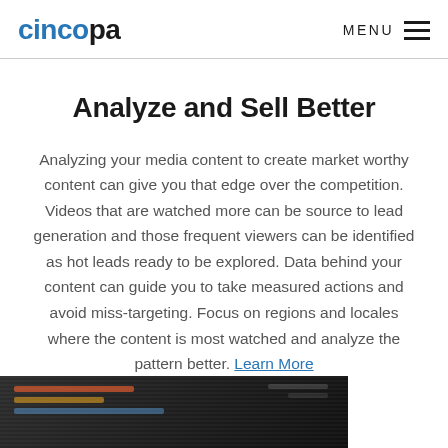cincopa   MENU
Analyze and Sell Better
Analyzing your media content to create market worthy content can give you that edge over the competition. Videos that are watched more can be source to lead generation and those frequent viewers can be identified as hot leads ready to be explored. Data behind your content can guide you to take measured actions and avoid miss-targeting. Focus on regions and locales where the content is most watched and analyze the pattern better. Learn More
[Figure (photo): Dark screenshot of a digital analytics or media dashboard interface]